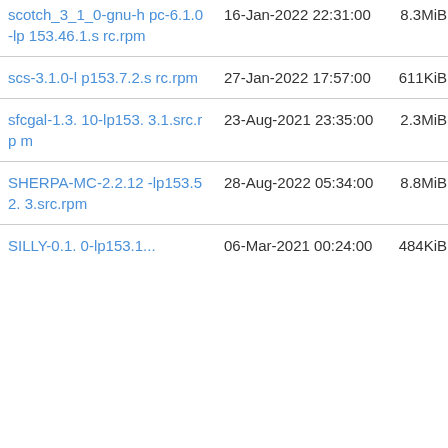| Name | Date | Size |  |
| --- | --- | --- | --- |
| scotch_3_1_0-gnu-hpc-6.1.0-lp153.46.1.src.rpm | 16-Jan-2022 22:31:00 | 8.3MiB | Details |
| scs-3.1.0-lp153.7.2.src.rpm | 27-Jan-2022 17:57:00 | 611KiB | Details |
| sfcgal-1.3.10-lp153.3.1.src.rpm | 23-Aug-2021 23:35:00 | 2.3MiB | Details |
| SHERPA-MC-2.2.12-lp153.52.3.src.rpm | 28-Aug-2022 05:34:00 | 8.8MiB | Details |
| SILLY-0.1.0-lp153.1... | 06-Mar-2021 00:24:00 | 484KiB | Details |